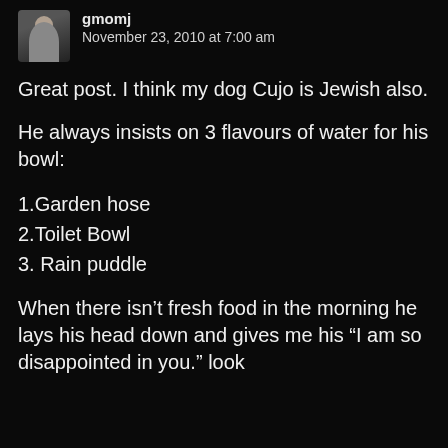gmomj
November 23, 2010 at 7:00 am
Great post. I think my dog Cujo is Jewish also.
He always insists on 3 flavours of water for his bowl:
1.Garden hose
2.Toilet Bowl
3. Rain puddle
When there isn't fresh food in the morning he lays his head down and gives me his “I am so disappointed in you.” look